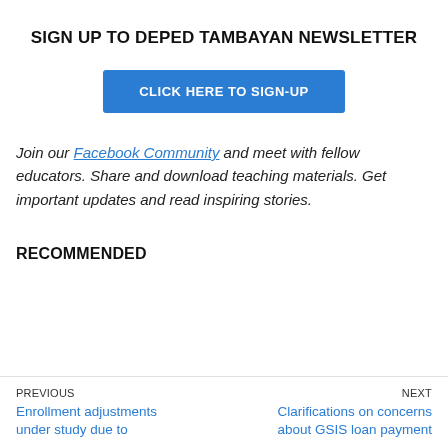SIGN UP TO DEPED TAMBAYAN NEWSLETTER
CLICK HERE TO SIGN-UP
Join our Facebook Community and meet with fellow educators. Share and download teaching materials. Get important updates and read inspiring stories.
RECOMMENDED
PREVIOUS
Enrollment adjustments under study due to
NEXT
Clarifications on concerns about GSIS loan payment